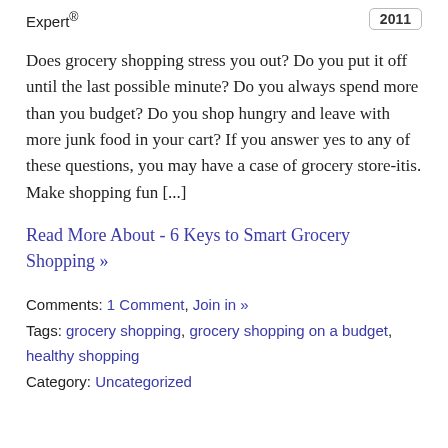Expert®
2011
Does grocery shopping stress you out? Do you put it off until the last possible minute? Do you always spend more than you budget? Do you shop hungry and leave with more junk food in your cart? If you answer yes to any of these questions, you may have a case of grocery store-itis. Make shopping fun [...]
Read More About - 6 Keys to Smart Grocery Shopping »
Comments: 1 Comment, Join in »
Tags: grocery shopping, grocery shopping on a budget, healthy shopping
Category: Uncategorized